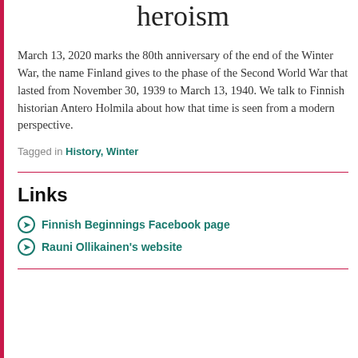heroism
March 13, 2020 marks the 80th anniversary of the end of the Winter War, the name Finland gives to the phase of the Second World War that lasted from November 30, 1939 to March 13, 1940. We talk to Finnish historian Antero Holmila about how that time is seen from a modern perspective.
Tagged in History, Winter
Links
Finnish Beginnings Facebook page
Rauni Ollikainen's website